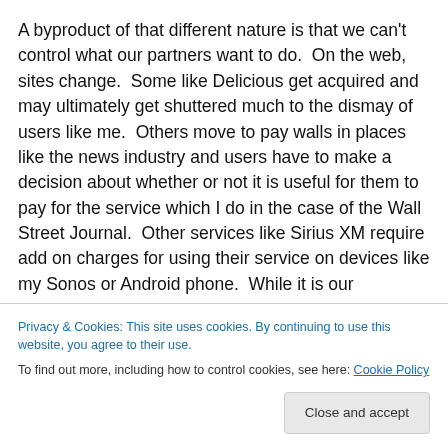A byproduct of that different nature is that we can't control what our partners want to do.  On the web, sites change.  Some like Delicious get acquired and may ultimately get shuttered much to the dismay of users like me.  Others move to pay walls in places like the news industry and users have to make a decision about whether or not it is useful for them to pay for the service which I do in the case of the Wall Street Journal.  Other services like Sirius XM require add on charges for using their service on devices like my Sonos or Android phone.  While it is our
Privacy & Cookies: This site uses cookies. By continuing to use this website, you agree to their use.
To find out more, including how to control cookies, see here: Cookie Policy
Close and accept
this week has been the discontinuation of our current